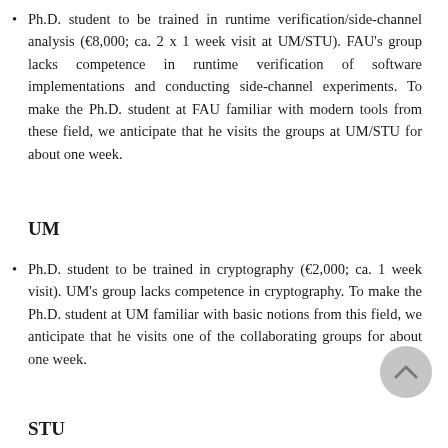Ph.D. student to be trained in runtime verification/side-channel analysis (€8,000; ca. 2 x 1 week visit at UM/STU). FAU's group lacks competence in runtime verification of software implementations and conducting side-channel experiments. To make the Ph.D. student at FAU familiar with modern tools from these field, we anticipate that he visits the groups at UM/STU for about one week.
UM
Ph.D. student to be trained in cryptography (€2,000; ca. 1 week visit). UM's group lacks competence in cryptography. To make the Ph.D. student at UM familiar with basic notions from this field, we anticipate that he visits one of the collaborating groups for about one week.
STU